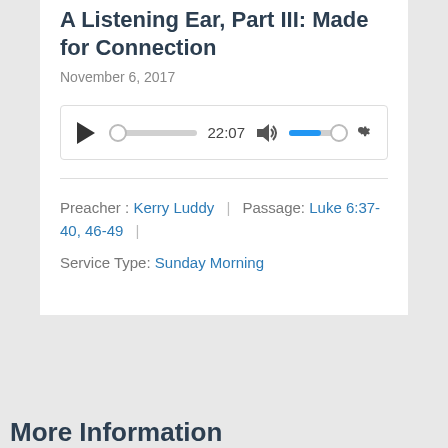A Listening Ear, Part III: Made for Connection
November 6, 2017
[Figure (screenshot): Audio player UI showing play button, progress bar at start, time 22:07, volume icon, volume slider partially filled blue, and settings gear icon]
Preacher : Kerry Luddy | Passage: Luke 6:37-40, 46-49 | Service Type: Sunday Morning
More Information